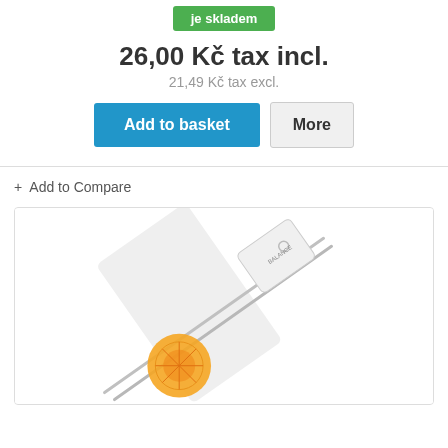je skladem
26,00 Kč tax incl.
21,49 Kč tax excl.
Add to basket
More
+ Add to Compare
[Figure (photo): Product photo of metal skewers in packaging with orange label/circle, displayed in a white box with border]